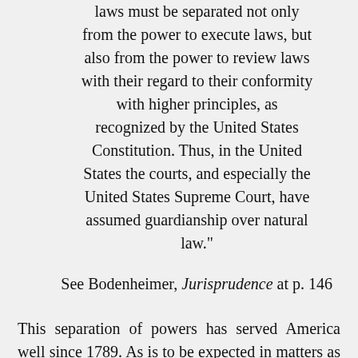laws must be separated not only from the power to execute laws, but also from the power to review laws with their regard to their conformity with higher principles, as recognized by the United States Constitution. Thus, in the United States the courts, and especially the United States Supreme Court, have assumed guardianship over natural law."
See Bodenheimer, Jurisprudence at p. 146
This separation of powers has served America well since 1789. As is to be expected in matters as complex as government and politics the powers of the three branches have each waxed and waned from time to time. However, we have always managed to keep our democracy by remaining moored to the rock upon which it was founded. Just as our founders recognized that individuals